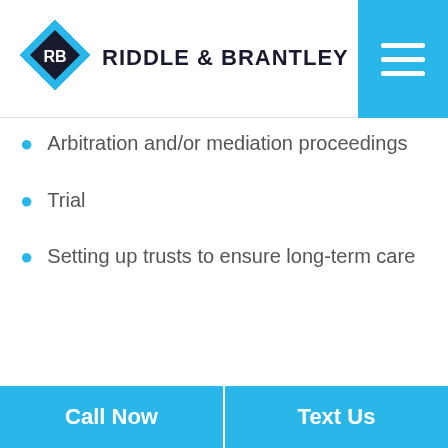Riddle & Brantley
Arbitration and/or mediation proceedings
Trial
Setting up trusts to ensure long-term care
Call Now | Text Us